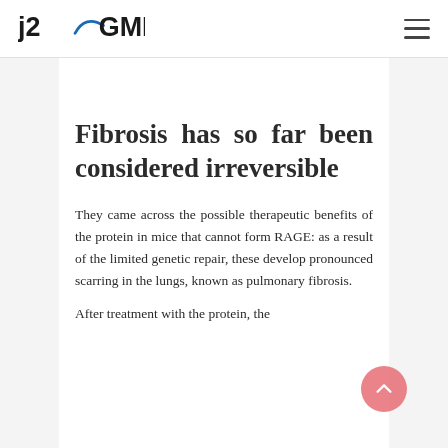j2GMN
Fibrosis has so far been considered irreversible
They came across the possible therapeutic benefits of the protein in mice that cannot form RAGE: as a result of the limited genetic repair, these develop pronounced scarring in the lungs, known as pulmonary fibrosis.
After treatment with the protein, the